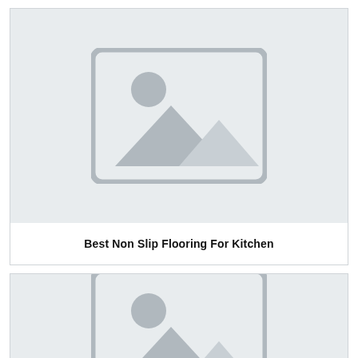[Figure (illustration): Placeholder image icon with mountain and sun on light grey background]
Best Non Slip Flooring For Kitchen
[Figure (illustration): Placeholder image icon with mountain and sun on light grey background (partially visible)]